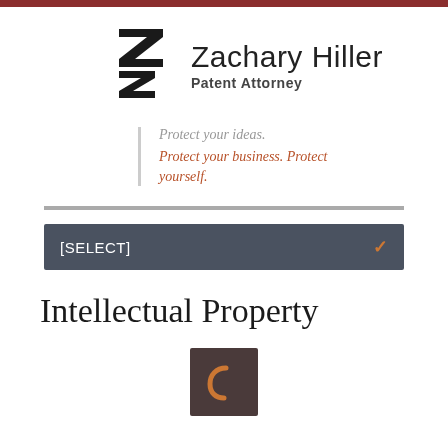[Figure (logo): Zachary Hiller Patent Attorney logo with stylized Z letterform and firm name/title]
Protect your ideas.
Protect your business. Protect yourself.
Intellectual Property
[Figure (logo): Small dark square icon with orange curved bracket symbol]